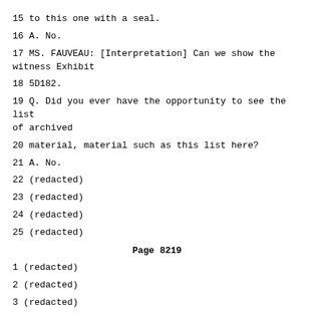15 to this one with a seal.
16 A. No.
17 MS. FAUVEAU: [Interpretation] Can we show the witness Exhibit
18 5D182.
19 Q. Did you ever have the opportunity to see the list of archived
20 material, material such as this list here?
21 A. No.
22 (redacted)
23 (redacted)
24 (redacted)
25 (redacted)
Page 8219
1 (redacted)
2 (redacted)
3 (redacted)